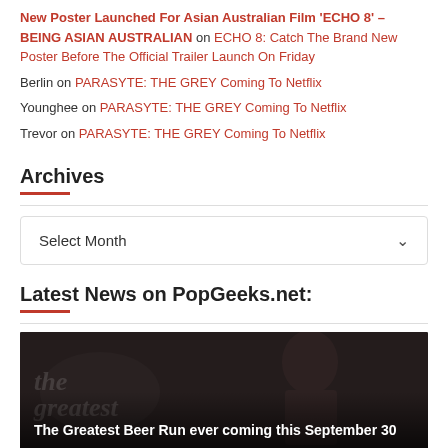New Poster Launched For Asian Australian Film 'ECHO 8' – BEING ASIAN AUSTRALIAN on ECHO 8: Catch The Brand New Poster Before The Official Trailer Launch On Friday
Berlin on PARASYTE: THE GREY Coming To Netflix
Younghee on PARASYTE: THE GREY Coming To Netflix
Trevor on PARASYTE: THE GREY Coming To Netflix
Archives
Select Month
Latest News on PopGeeks.net:
[Figure (photo): Dark movie still with a man in the foreground, watermark 'the greatest' text visible. Caption overlay: The Greatest Beer Run ever coming this September 30]